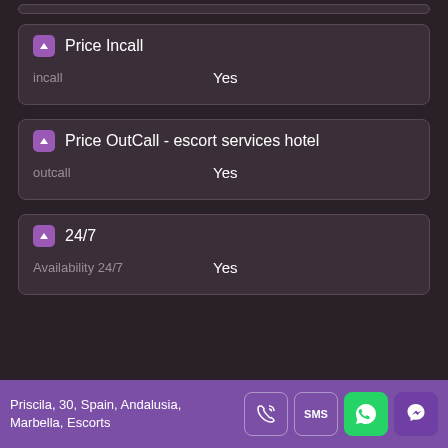Price Incall
|  |  |
| --- | --- |
| incall | Yes |
Price OutCall - escort services hotel
|  |  |
| --- | --- |
| outcall | Yes |
24/7
|  |  |
| --- | --- |
| Availability 24/7 | Yes |
Priscila, 30, Spain, Andalusia, Marbella, Escorts